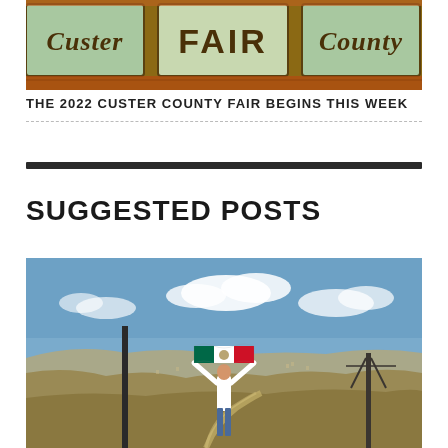[Figure (photo): Custer County Fair sign banner — decorative sign with 'Custer' in cursive on left panel, 'FAIR' in bold capital letters on center panel, 'County' in cursive on right panel, with green and orange/rust color scheme]
THE 2022 CUSTER COUNTY FAIR BEGINS THIS WEEK
SUGGESTED POSTS
[Figure (photo): A man in a white shirt and jeans standing on an overlook holding up a Mexican flag with both arms raised, against a landscape of arid hills and blue sky with clouds]